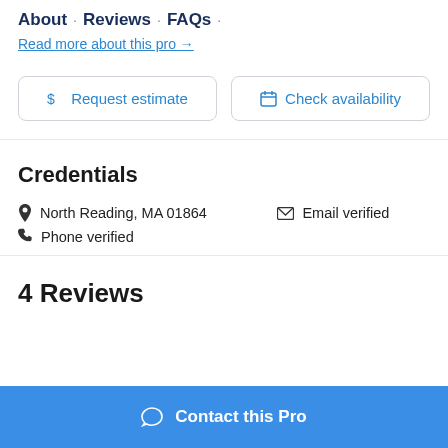About · Reviews · FAQs ·
Read more about this pro →
$ Request estimate
🗓 Check availability
Credentials
📍 North Reading, MA 01864
✉ Email verified
📞 Phone verified
4 Reviews
Contact this Pro